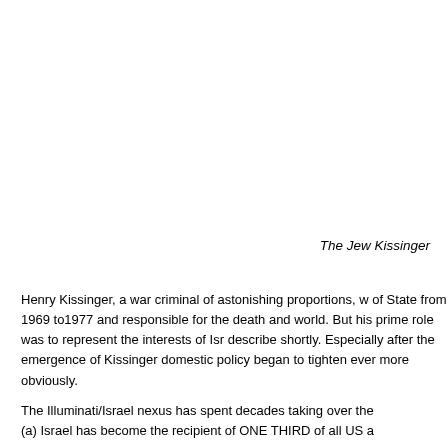The Jew Kissinger
Henry Kissinger, a war criminal of astonishing proportions, w... of State from 1969 to1977 and responsible for the death and... world. But his prime role was to represent the interests of Isr... describe shortly. Especially after the emergence of Kissinger... domestic policy began to tighten ever more obviously.
The Illuminati/Israel nexus has spent decades taking over the... (a) Israel has become the recipient of ONE THIRD of all US a...